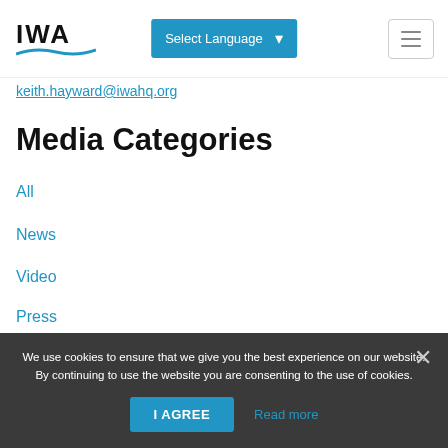IWA - Select Language
keith.hayward@iwahq.org
Media Categories
All
News
Video
Press
We use cookies to ensure that we give you the best experience on our website. By continuing to use the website you are consenting to the use of cookies.